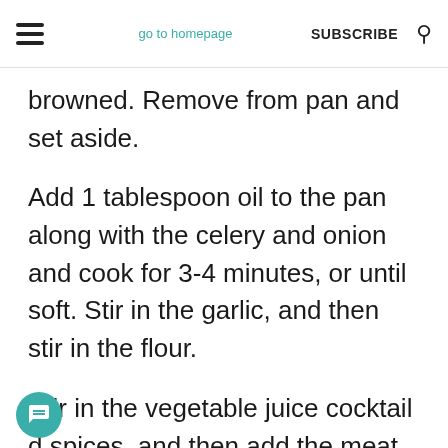go to homepage | SUBSCRIBE
browned. Remove from pan and set aside.
Add 1 tablespoon oil to the pan along with the celery and onion and cook for 3-4 minutes, or until soft. Stir in the garlic, and then stir in the flour.
Stir in the vegetable juice cocktail d spices, and then add the meat, potatoes, carrots, and turnip. Bring